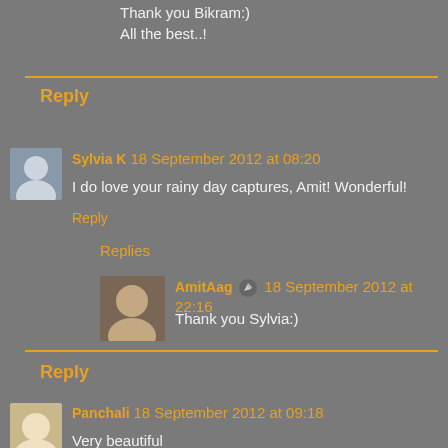Thank you Bikram:)
All the best..!
Reply
[Figure (photo): Avatar photo of Sylvia K]
Sylvia K  18 September 2012 at 08:20
I do love your rainy day captures, Amit! Wonderful!
Reply
Replies
[Figure (photo): Avatar photo of AmitAag]
AmitAag  18 September 2012 at 22:16
Thank you Sylvia:)
Reply
[Figure (photo): Avatar photo of Panchali]
Panchali  18 September 2012 at 09:18
Very beautiful